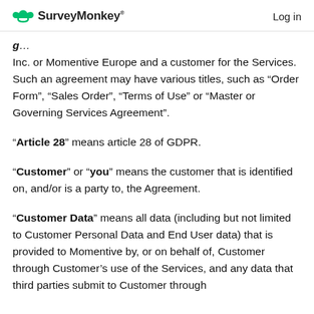SurveyMonkey  Log in
Inc. or Momentive Europe and a customer for the Services. Such an agreement may have various titles, such as “Order Form”, “Sales Order”, “Terms of Use” or “Master or Governing Services Agreement”.
“Article 28” means article 28 of GDPR.
“Customer” or “you” means the customer that is identified on, and/or is a party to, the Agreement.
“Customer Data” means all data (including but not limited to Customer Personal Data and End User data) that is provided to Momentive by, or on behalf of, Customer through Customer’s use of the Services, and any data that third parties submit to Customer through the Services.